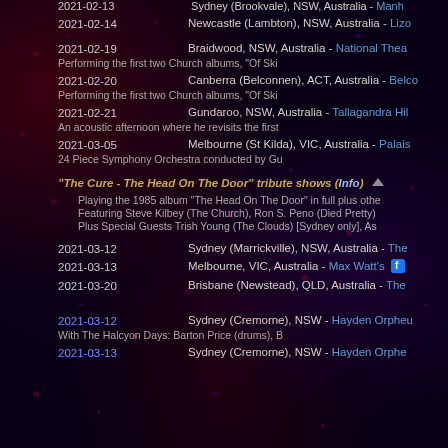2021-02-13  Sydney (Brookvale), NSW, Australia - Manh…
2021-02-14  Newcastle (Lambton), NSW, Australia - Lizo…
2021-02-19  Braidwood, NSW, Australia - National Thea… Performing the first two Church albums, "Of Ski…
2021-02-20  Canberra (Belconnen), ACT, Australia - Belco… Performing the first two Church albums, "Of Ski…
2021-02-21  Gundaroo, NSW, Australia - Tallagandra Hil… An acoustic afternoon where he revisits the first…
2021-03-05  Melbourne (St Kilda), VIC, Australia - Palais… 24 Piece Symphony Orchestra conducted by Gu…
"The Cure - The Head On The Door" tribute shows (Info)
Playing the 1985 album "The Head On The Door" in full plus othe… Featuring Steve Kilbey (The Church), Ron S. Peno (Died Pretty)… Plus Special Guests Trish Young (The Clouds) [Sydney only], As…
2021-03-12  Sydney (Marrickville), NSW, Australia - The…
2021-03-13  Melbourne, VIC, Australia - Max Watt's
2021-03-20  Brisbane (Newstead), QLD, Australia - The…
2021-03-12  Sydney (Cremorne), NSW - Hayden Orpheu… With The Halcyon Days: Barton Price (drums), B…
2021-03-13  Sydney (Cremorne), NSW - Hayden Orphe…